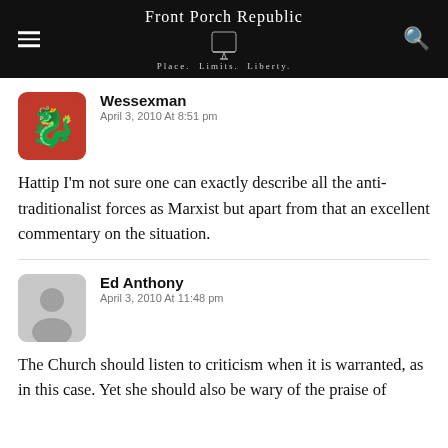Front Porch Republic — Place. Limits. Liberty.
Wessexman
April 3, 2010 At 8:51 pm
Hattip I'm not sure one can exactly describe all the anti-traditionalist forces as Marxist but apart from that an excellent commentary on the situation.
Ed Anthony
April 3, 2010 At 11:48 pm
The Church should listen to criticism when it is warranted, as in this case. Yet she should also be wary of the praise of